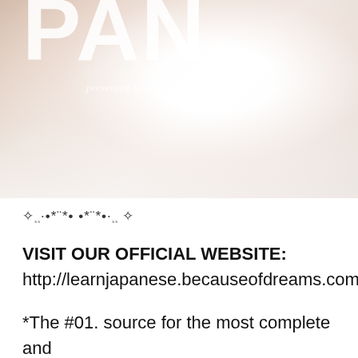[Figure (photo): Partial view of a person's face/neck area with overlaid text 'PAN' in large white letters and 'presented by beca' in smaller white italic text. The image is bright and washed out with warm tones.]
✧ ₅₅·•*¨*• •*¨*•·₅₅ ✧
VISIT OUR OFFICIAL WEBSITE:
http://learnjapanese.becauseofdreams.com
*The #01. source for the most complete and updated information on all lessons. Also